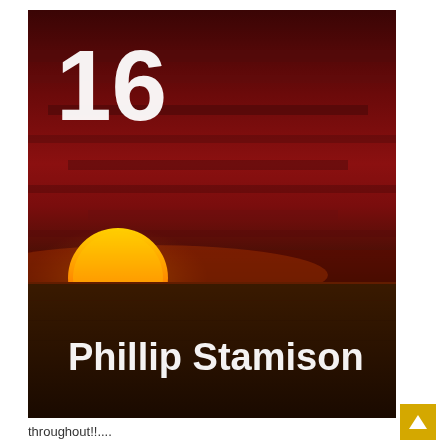[Figure (photo): Book cover showing a dramatic sunset over water. Dark red and crimson sky with a golden-orange sun setting near the horizon. The number '16' appears in large white text at the top left. 'Phillip Stamison' appears in large white text at the bottom center.]
throughout!!....